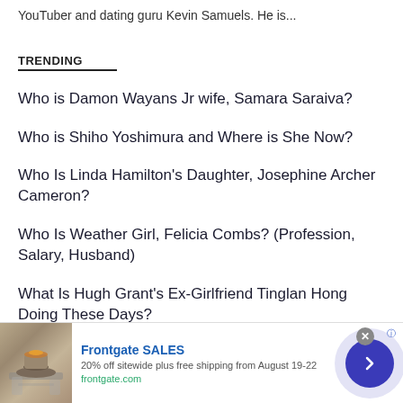YouTuber and dating guru Kevin Samuels. He is...
TRENDING
Who is Damon Wayans Jr wife, Samara Saraiva?
Who is Shiho Yoshimura and Where is She Now?
Who Is Linda Hamilton's Daughter, Josephine Archer Cameron?
Who Is Weather Girl, Felicia Combs? (Profession, Salary, Husband)
What Is Hugh Grant's Ex-Girlfriend Tinglan Hong Doing These Days?
[Figure (screenshot): Advertisement banner for Frontgate SALES showing outdoor furniture with a fire pit. Text reads: Frontgate SALES, 20% off sitewide plus free shipping from August 19-22, frontgate.com]